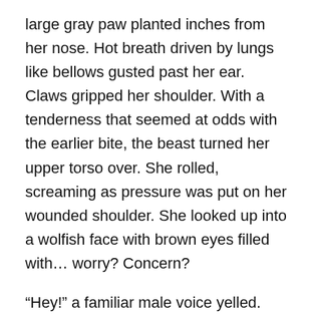large gray paw planted inches from her nose. Hot breath driven by lungs like bellows gusted past her ear. Claws gripped her shoulder. With a tenderness that seemed at odds with the earlier bite, the beast turned her upper torso over. She rolled, screaming as pressure was put on her wounded shoulder. She looked up into a wolfish face with brown eyes filled with… worry? Concern?
“Hey!” a familiar male voice yelled.
The creature whipped its head around to look behind them. She couldn’t see what it was looking at, but there was no mistaking the